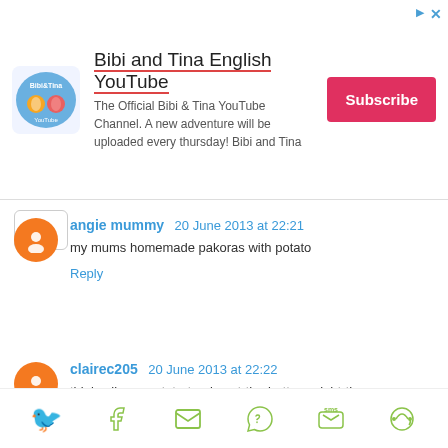[Figure (other): Advertisement banner for Bibi and Tina English YouTube channel with logo, description text, and Subscribe button]
angie mummy 20 June 2013 at 22:21
my mums homemade pakoras with potato
Reply
clairec205 20 June 2013 at 22:22
thinly slice a potato to almost the bottom, right the way across the potato, drizzle olive oil over and sprinkle salt. Oven cook for about an hour and a half
Reply
[Figure (other): Social sharing icons: Twitter, Facebook, Email, WhatsApp, SMS, and another share icon]